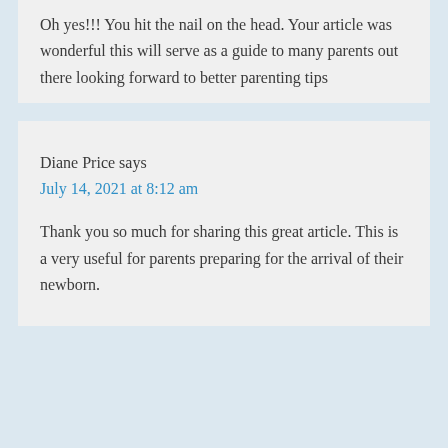Oh yes!!! You hit the nail on the head. Your article was wonderful this will serve as a guide to many parents out there looking forward to better parenting tips
Diane Price says
July 14, 2021 at 8:12 am
Thank you so much for sharing this great article. This is a very useful for parents preparing for the arrival of their newborn.